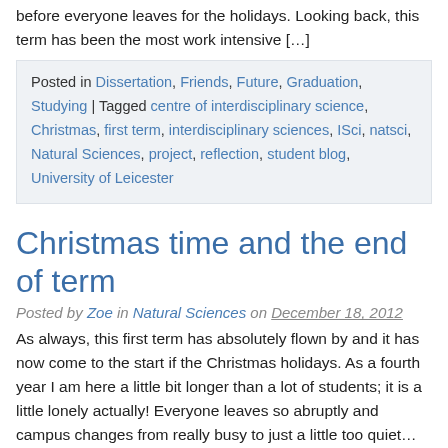before everyone leaves for the holidays. Looking back, this term has been the most work intensive […]
Posted in Dissertation, Friends, Future, Graduation, Studying | Tagged centre of interdisciplinary science, Christmas, first term, interdisciplinary sciences, ISci, natsci, Natural Sciences, project, reflection, student blog, University of Leicester
Christmas time and the end of term
Posted by Zoe in Natural Sciences on December 18, 2012
As always, this first term has absolutely flown by and it has now come to the start if the Christmas holidays. As a fourth year I am here a little bit longer than a lot of students; it is a little lonely actually! Everyone leaves so abruptly and campus changes from really busy to just a little too quiet… […]
Posted in Friends, Holiday, Revision | Tagged break,